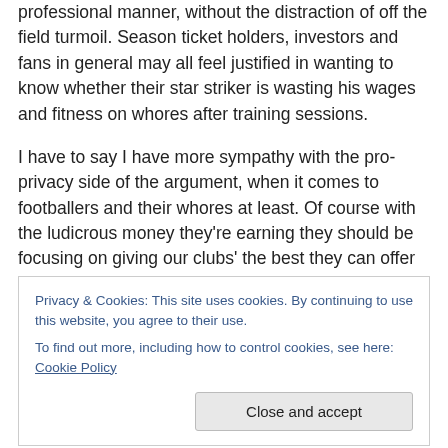professional manner, without the distraction of off the field turmoil. Season ticket holders, investors and fans in general may all feel justified in wanting to know whether their star striker is wasting his wages and fitness on whores after training sessions.
I have to say I have more sympathy with the pro-privacy side of the argument, when it comes to footballers and their whores at least. Of course with the ludicrous money they're earning they should be focusing on giving our clubs' the best they can offer on the pitch every weekend. But frankly I don't care about their numerous and identical
Privacy & Cookies: This site uses cookies. By continuing to use this website, you agree to their use.
To find out more, including how to control cookies, see here: Cookie Policy
football to judge morality.